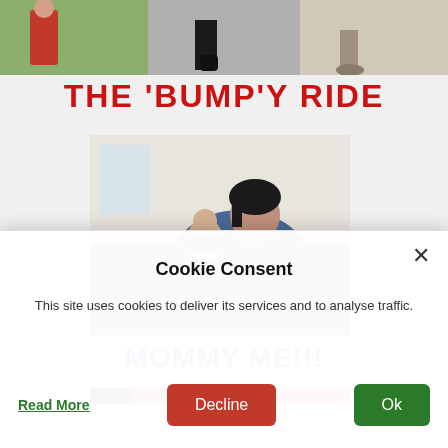[Figure (photo): Strip of three street-style fashion photos at top of blog page]
THE 'BUMP'Y RIDE
[Figure (photo): Woman sitting on a couch holding and kissing a baby]
MOMMY ME!!!
[Figure (photo): Partial bottom image strip, partially obscured by cookie banner]
Cookie Consent
This site uses cookies to deliver its services and to analyse traffic.
Read More | Decline | Ok